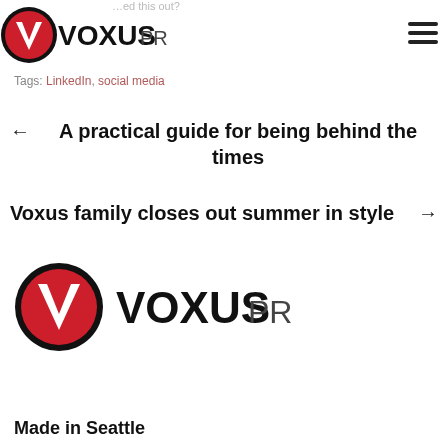VOXUSPR (logo with navigation)
Tags: LinkedIn, social media
← A practical guide for being behind the times
Voxus family closes out summer in style →
[Figure (logo): VoxusPR logo: red circle with white V, followed by VOXUSPR text]
Made in Seattle